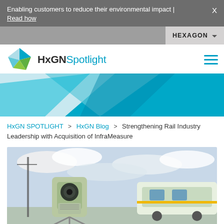Enabling customers to reduce their environmental impact | Read how
[Figure (logo): HxGN Spotlight logo with blue and green diamond icon]
[Figure (illustration): Abstract teal and light blue geometric banner graphic]
HxGN SPOTLIGHT > HxGN Blog > Strengthening Rail Industry Leadership with Acquisition of InfraMeasure
[Figure (photo): Surveying total station instrument in foreground with a green-and-white train and cloudy sky in background]